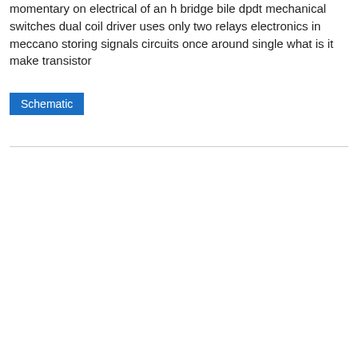momentary on electrical of an h bridge bile dpdt mechanical switches dual coil driver uses only two relays electronics in meccano storing signals circuits once around single what is it make transistor
Schematic